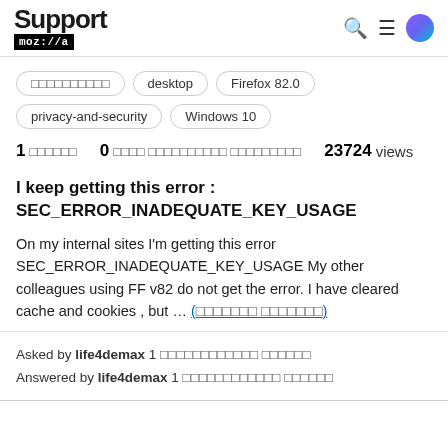Support mozilla
□□□□□□□□□□
desktop
Firefox 82.0
privacy-and-security
Windows 10
1 □□□□□□ 0 □□□□ □□□□□□□□□□ □□□□□□□□□ 23724 views
I keep getting this error : SEC_ERROR_INADEQUATE_KEY_USAGE
On my internal sites I'm getting this error SEC_ERROR_INADEQUATE_KEY_USAGE My other colleagues using FF v82 do not get the error. I have cleared cache and cookies , but … (□□□□□□□ □□□□□□□)
Asked by life4demax 1 □□□□□□□□□□□□ □□□□□□
Answered by life4demax 1 □□□□□□□□□□□□ □□□□□□